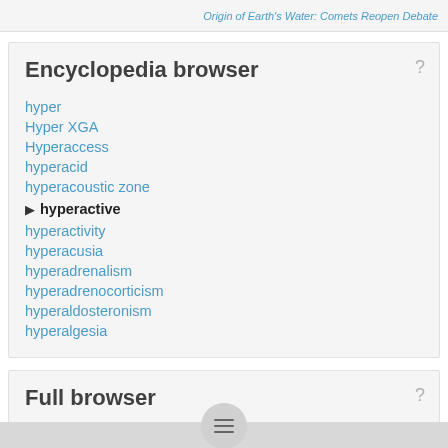Origin of Earth's Water: Comets Reopen Debate
Encyclopedia browser
hyper
Hyper XGA
Hyperaccess
hyperacid
hyperacoustic zone
▶ hyperactive
hyperactivity
hyperacusia
hyperadrenalism
hyperadrenocorticism
hyperaldosteronism
hyperalgesia
Full browser